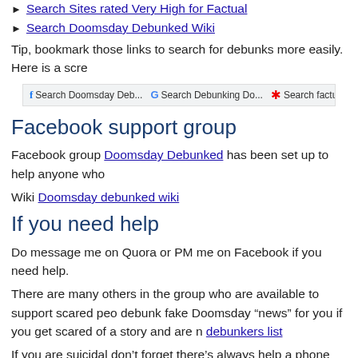Search Sites rated Very High for Factual
Search Doomsday Debunked Wiki
Tip, bookmark those links to search for debunks more easily. Here is a scre
[Figure (screenshot): Browser bookmarks bar showing: Facebook icon 'Search Doomsday Deb...', Google icon 'Search Debunking Do...', red asterisk 'Search factual', Google icon 'Search Quora RW', Q icon 'Li...']
Facebook support group
Facebook group Doomsday Debunked has been set up to help anyone who
Wiki Doomsday debunked wiki
If you need help
Do message me on Quora or PM me on Facebook if you need help.
There are many others in the group who are available to support scared peo debunk fake Doomsday “news” for you if you get scared of a story and are n debunkers list
If you are suicidal don’t forget there’s always help a phone call away with th Wikipedia